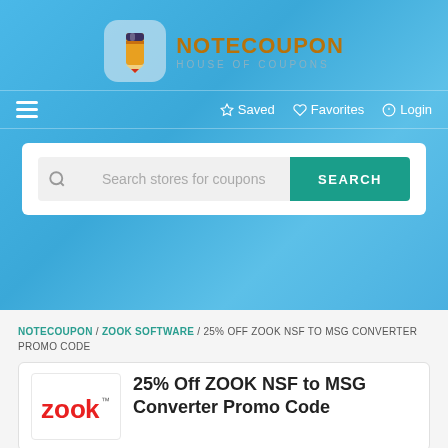[Figure (logo): NoteCoupon House of Coupons logo with pencil icon]
☆ Saved  ♡ Favorites  ⏻ Login
[Figure (screenshot): Search bar with 'Search stores for coupons' placeholder and SEARCH button]
NOTECOUPON / ZOOK SOFTWARE / 25% OFF ZOOK NSF TO MSG CONVERTER PROMO CODE
25% Off ZOOK NSF to MSG Converter Promo Code